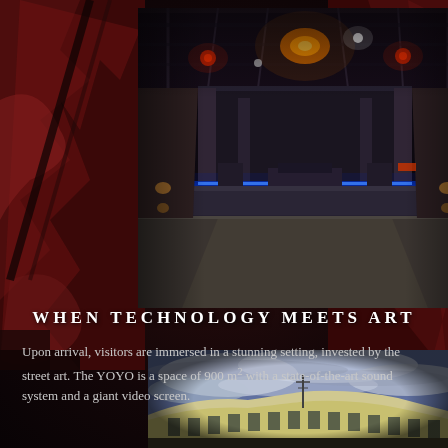[Figure (photo): Interior of YOYO venue showing a nightclub/concert hall with stage, blue LED lighting along the walls, orange and red overhead lights, empty dance floor viewed from an elevated position]
WHEN TECHNOLOGY MEETS ART
Upon arrival, visitors are immersed in a stunning setting, invested by the street art. The YOYO is a space of 900 m² with a state-of-the-art sound system and a giant video screen.
[Figure (photo): Exterior fisheye/wide-angle view of a building against a dramatic cloudy sky at night or dusk]